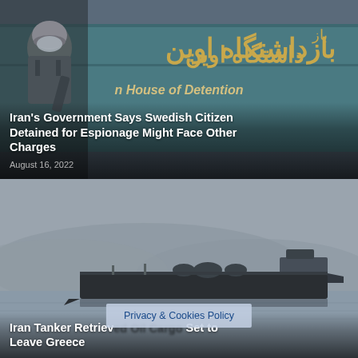[Figure (photo): Iranian riot police officer in front of Evin Prison sign (House of Detention) with Farsi text, teal/blue wall background]
Iran's Government Says Swedish Citizen Detained for Espionage Might Face Other Charges
August 16, 2022
[Figure (photo): Oil tanker ship on calm grey-blue water with hazy mountains in background]
Iran Tanker Retriev... Set to Leave Greece
Privacy & Cookies Policy